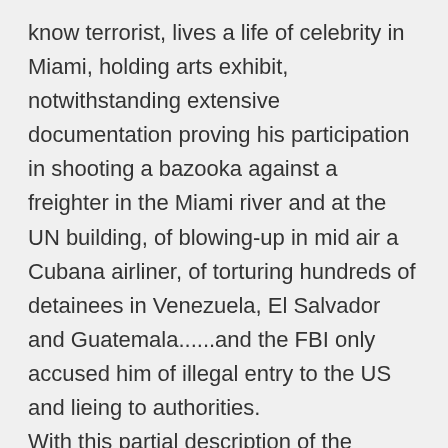know terrorist, lives a life of celebrity in Miami, holding arts exhibit, notwithstanding extensive documentation proving his participation in shooting a bazooka against a freighter in the Miami river and at the UN building, of blowing-up in mid air a Cubana airliner, of torturing hundreds of detainees in Venezuela, El Salvador and Guatemala......and the FBI only accused him of illegal entry to the US and lieing to authorities. With this partial description of the United States Judicial System vs Blacks without including decades of lynching, its support/cover-up for the KKK, its past